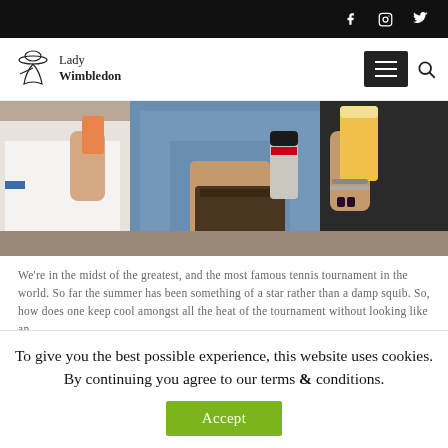Lady Wimbledon — social icons: Facebook, Instagram, Twitter
[Figure (photo): Close-up of people holding drinks including what appears to be a cocktail, beer can, and glass of beer at an outdoor event.]
We're in the midst of the greatest, and the most famous tennis tournament in the world. So far the summer has been something of a star rather than a damp squib. So, how does one keep cool amongst all the heat of the tournament without looking like an
To give you the best possible experience, this website uses cookies. By continuing you agree to our terms & conditions.
Accept